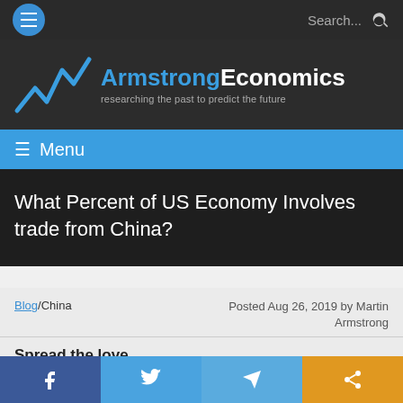ArmstrongEconomics — researching the past to predict the future
What Percent of US Economy Involves trade from China?
Blog/China  Posted Aug 26, 2019 by Martin Armstrong
Spread the love